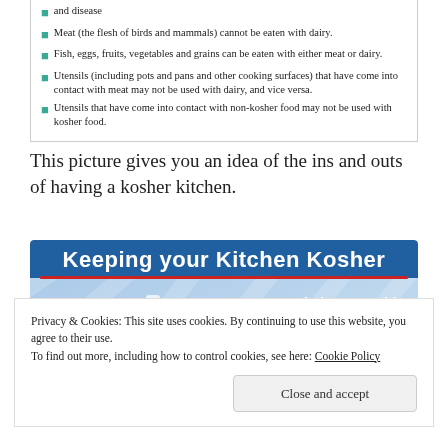Meat (the flesh of birds and mammals) cannot be eaten with dairy.
Fish, eggs, fruits, vegetables and grains can be eaten with either meat or dairy.
Utensils (including pots and pans and other cooking surfaces) that have come into contact with meat may not be used with dairy, and vice versa.
Utensils that have come into contact with non-kosher food may not be used with kosher food.
This picture gives you an idea of the ins and outs of having a kosher kitchen.
[Figure (infographic): Keeping your Kitchen Kosher infographic. Step 1: SEPARATE pots, dish sets & storage with at least one for dairy. Mark drawers with Dairy and Meat labels. Shows illustrations of dishes, glasses, and pots.]
Privacy & Cookies: This site uses cookies. By continuing to use this website, you agree to their use. To find out more, including how to control cookies, see here: Cookie Policy